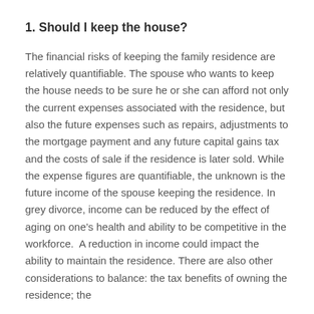1. Should I keep the house?
The financial risks of keeping the family residence are relatively quantifiable. The spouse who wants to keep the house needs to be sure he or she can afford not only the current expenses associated with the residence, but also the future expenses such as repairs, adjustments to the mortgage payment and any future capital gains tax and the costs of sale if the residence is later sold. While the expense figures are quantifiable, the unknown is the future income of the spouse keeping the residence. In grey divorce, income can be reduced by the effect of aging on one’s health and ability to be competitive in the workforce.  A reduction in income could impact the ability to maintain the residence. There are also other considerations to balance: the tax benefits of owning the residence; the